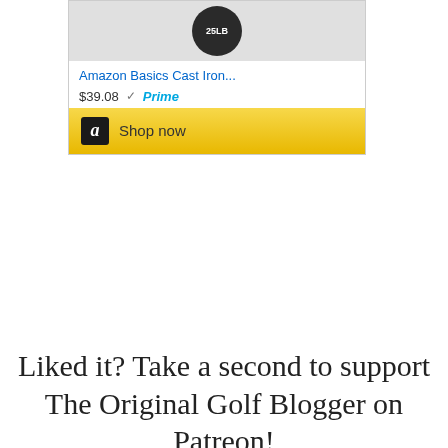[Figure (screenshot): Amazon product widget showing Amazon Basics Cast Iron item priced at $39.08 with Prime badge and Shop now button]
Liked it? Take a second to support The Original Golf Blogger on Patreon!
[Figure (other): Become a Patron button with Patreon logo (bar and circle icon) on coral/orange-red background]
Share this:
[Figure (other): Row of social share icons: Twitter, Facebook, LinkedIn, Pinterest, Email, Pocket, Reddit, Print, and More button]